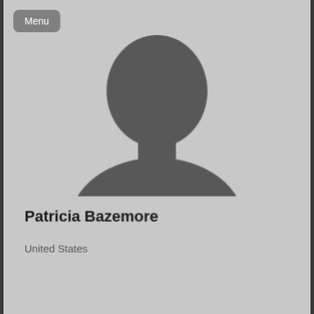Menu
[Figure (illustration): Silhouette of a person (head and shoulders) used as a default avatar/profile picture placeholder on a gray background]
Patricia Bazemore
United States